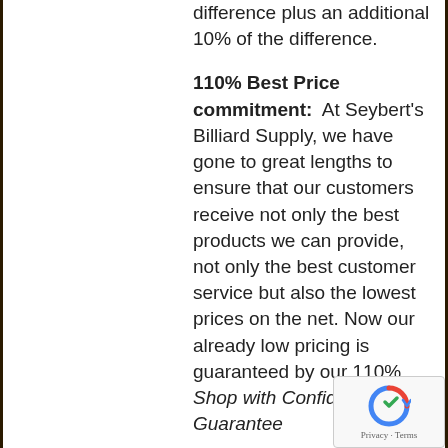difference plus an additional 10% of the difference.
110% Best Price commitment: At Seybert's Billiard Supply, we have gone to great lengths to ensure that our customers receive not only the best products we can provide, not only the best customer service but also the lowest prices on the net. Now our already low pricing is guaranteed by our 110% Shop with Confidence Guarantee